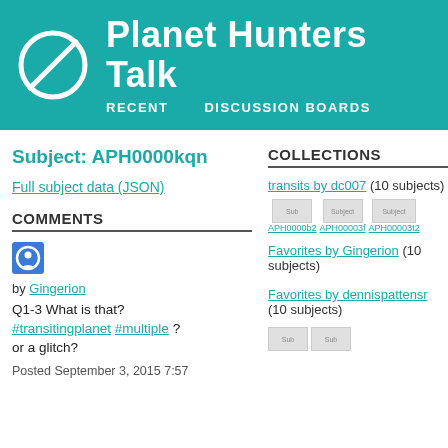Planet Hunters Talk | RECENT   DISCUSSION BOARDS
Subject: APH0000kqn
Full subject data (JSON)
COMMENTS
[Figure (other): User avatar icon for Gingerion]
by Gingerion
Q1-3 What is that? #transitingplanet #multiple ? or a glitch?
Posted September 3, 2015 7:57
COLLECTIONS
transits by dc007 (10 subjects)
[Figure (other): Subject thumbnails: Subject APH0000b2, Subject APH00003f, Subject APH00003t2]
Favorites by Gingerion (10 subjects)
Favorites by dennispattensr (10 subjects)